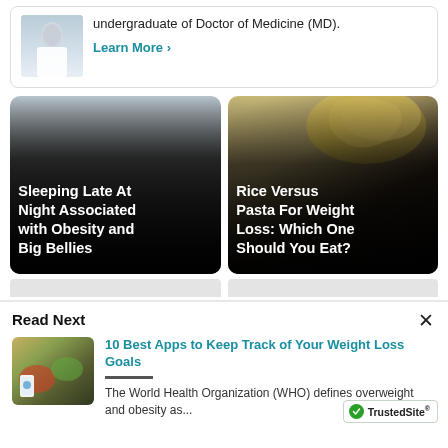[Figure (photo): Partial view of a doctor in white coat, top left corner]
undergraduate of Doctor of Medicine (MD).
Learn More ›
[Figure (photo): Article card: Sleeping Late At Night Associated with Obesity and Big Bellies]
[Figure (photo): Article card: Rice Versus Pasta For Weight Loss: Which One Should You Eat? — showing pasta noodles]
Read Next
[Figure (photo): Thumbnail showing food and a phone tracking app for weight loss article]
10 Best Apps to Keep Track of Your Weight Loss Goals
The World Health Organization (WHO) defines overweight and obesity as...